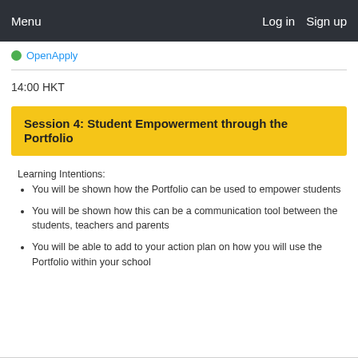Menu    Log in    Sign up
[Figure (logo): OpenApply logo with green dot and blue text]
14:00 HKT
Session 4: Student Empowerment through the Portfolio
Learning Intentions:
You will be shown how the Portfolio can be used to empower students
You will be shown how this can be a communication tool between the students, teachers and parents
You will be able to add to your action plan on how you will use the Portfolio within your school